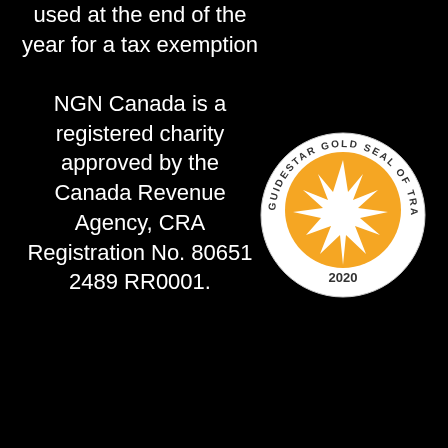used at the end of the year for a tax exemption

NGN Canada is a registered charity approved by the Canada Revenue Agency, CRA Registration No. 80651 2489 RR0001.
[Figure (illustration): GuideStar Gold Seal of Transparency 2020 circular badge with a gold starburst in the center on a white background]